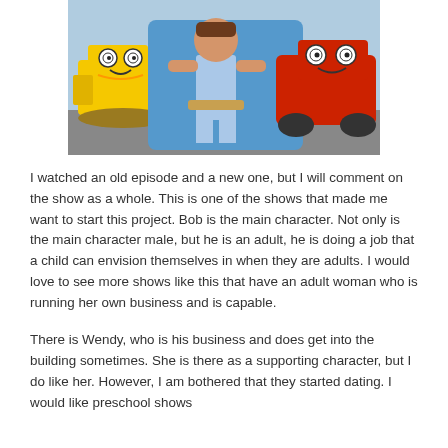[Figure (photo): Bob the Builder animated characters — a yellow bulldozer, a human builder figure in grey jeans and tool belt, and a red truck, posed together against a blue/grey background.]
I watched an old episode and a new one, but I will comment on the show as a whole. This is one of the shows that made me want to start this project. Bob is the main character. Not only is the main character male, but he is an adult, he is doing a job that a child can envision themselves in when they are adults. I would love to see more shows like this that have an adult woman who is running her own business and is capable.
There is Wendy, who is his business and does get into the building sometimes. She is there as a supporting character, but I do like her. However, I am bothered that they started dating. I would like preschool shows